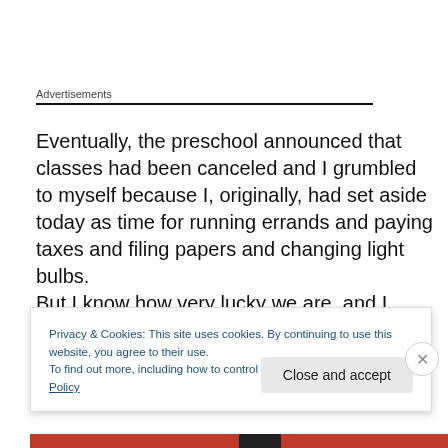Advertisements
Eventually, the preschool announced that classes had been canceled and I grumbled to myself because I, originally, had set aside today as time for running errands and paying taxes and filing papers and changing light bulbs.
But I know how very lucky we are, and I know that the past
Privacy & Cookies: This site uses cookies. By continuing to use this website, you agree to their use.
To find out more, including how to control cookies, see here: Cookie Policy
Close and accept